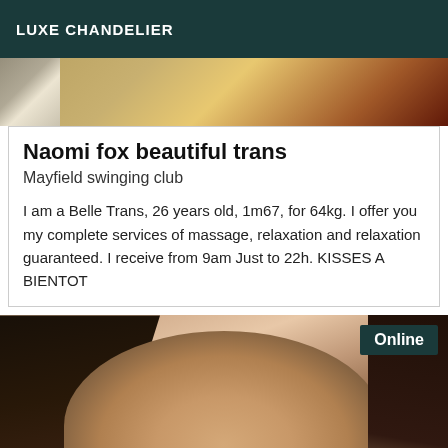LUXE CHANDELIER
[Figure (photo): Partial photo cropped at top showing warm golden/amber tones with dark shadow on left]
Naomi fox beautiful trans
Mayfield swinging club
I am a Belle Trans, 26 years old, 1m67, for 64kg. I offer you my complete services of massage, relaxation and relaxation guaranteed. I receive from 9am Just to 22h. KISSES A BIENTOT
[Figure (photo): Close-up photo of a woman with dark hair and defined eyebrows, with an 'Online' badge in the top right corner]